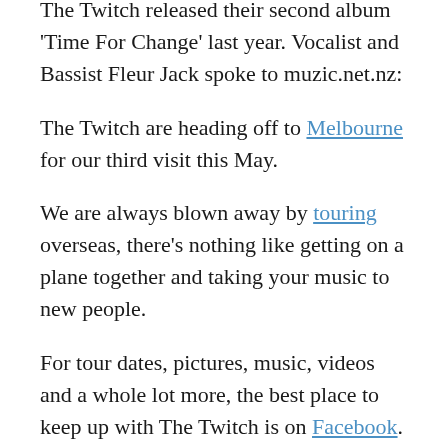The Twitch released their second album 'Time For Change' last year. Vocalist and Bassist Fleur Jack spoke to muzic.net.nz:
The Twitch are heading off to Melbourne for our third visit this May.
We are always blown away by touring overseas, there's nothing like getting on a plane together and taking your music to new people.
For tour dates, pictures, music, videos and a whole lot more, the best place to keep up with The Twitch is on Facebook.
What can you never leave home without?
Guitar picks and ear plugs. If I'm doing a roadie then I'd never forget to take eye make up